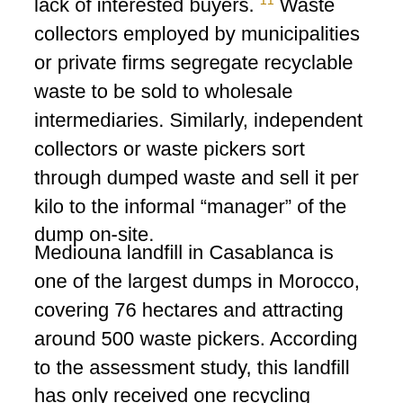lack of interested buyers. 11 Waste collectors employed by municipalities or private firms segregate recyclable waste to be sold to wholesale intermediaries. Similarly, independent collectors or waste pickers sort through dumped waste and sell it per kilo to the informal “manager” of the dump on-site.
Mediouna landfill in Casablanca is one of the largest dumps in Morocco, covering 76 hectares and attracting around 500 waste pickers. According to the assessment study, this landfill has only received one recycling request from an industrial pollution control company. An agreement was signed in 2008 to create a new public sanitary landfill with the objective of rehabilitating the current dump and closing...